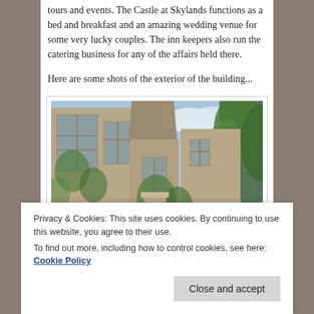tours and events. The Castle at Skylands functions as a bed and breakfast and an amazing wedding venue for some very lucky couples. The inn keepers also run the catering business for any of the affairs held there.
Here are some shots of the exterior of the building...
[Figure (photo): Exterior photograph of the Castle at Skylands, a stone Tudor-style building with large mullioned windows, ivy-covered walls, and surrounding trees against a blue sky.]
Privacy & Cookies: This site uses cookies. By continuing to use this website, you agree to their use. To find out more, including how to control cookies, see here: Cookie Policy